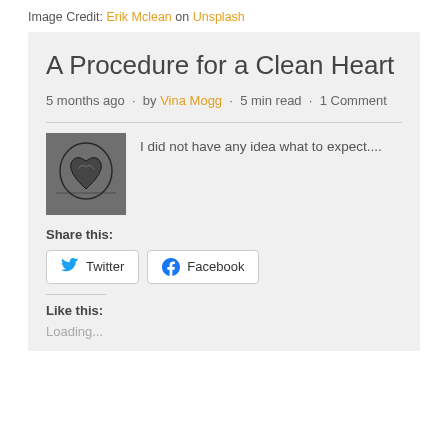Image Credit: Erik Mclean on Unsplash
A Procedure for a Clean Heart
5 months ago · by Vina Mogg · 5 min read · 1 Comment
[Figure (photo): Black and white medical image of a heart, likely an angiogram or X-ray]
I did not have any idea what to expect....
Share this:
Twitter
Facebook
Like this:
Loading...